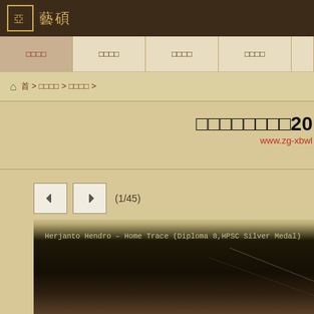亞 藝碩
□□□□ | □□□□ | □□□□ | □□□□
首 > □□□□ > □□□□ >
□□□□□□□□20
www.zg-xbwl
[Figure (other): Navigation buttons (back/forward) with page count (1/45) above a photo viewer showing image caption: Herjanto Hendro – Home Trace (Diploma 8,HPSC Silver Medal)]